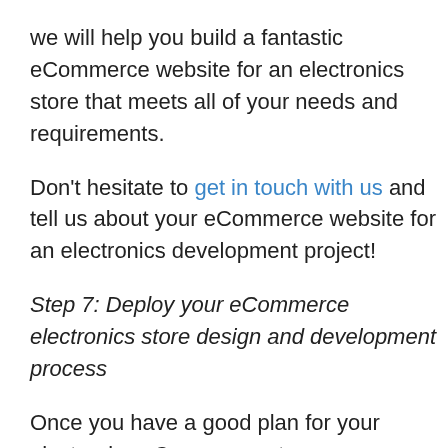we will help you build a fantastic eCommerce website for an electronics store that meets all of your needs and requirements.
Don't hesitate to get in touch with us and tell us about your eCommerce website for an electronics development project!
Step 7: Deploy your eCommerce electronics store design and development process
Once you have a good plan for your electronics eCommerce store development as well as choose the right web agency, project implementation will be much easier.